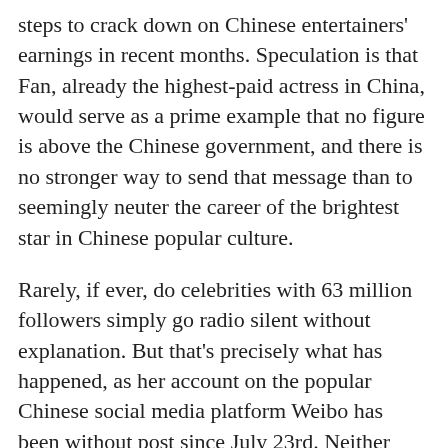steps to crack down on Chinese entertainers' earnings in recent months. Speculation is that Fan, already the highest-paid actress in China, would serve as a prime example that no figure is above the Chinese government, and there is no stronger way to send that message than to seemingly neuter the career of the brightest star in Chinese popular culture.
Rarely, if ever, do celebrities with 63 million followers simply go radio silent without explanation. But that's precisely what has happened, as her account on the popular Chinese social media platform Weibo has been without post since July 23rd. Neither does a public figure of Fan's stature remain out of the public eye for very long. Yet, Fan has reportedly not been seen in public since visiting a children's hospital in Shanghai on July 1st.
China's authorities do not have an obligation to disclose when somebody is being held as part of an investigation,